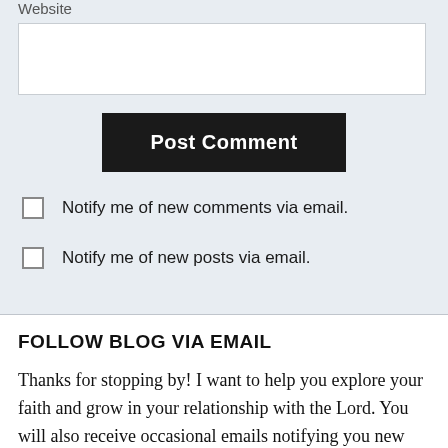Website
[input box]
Post Comment
Notify me of new comments via email.
Notify me of new posts via email.
FOLLOW BLOG VIA EMAIL
Thanks for stopping by! I want to help you explore your faith and grow in your relationship with the Lord. You will also receive occasional emails notifying you new posts. Thank you for allowing me to serve you.